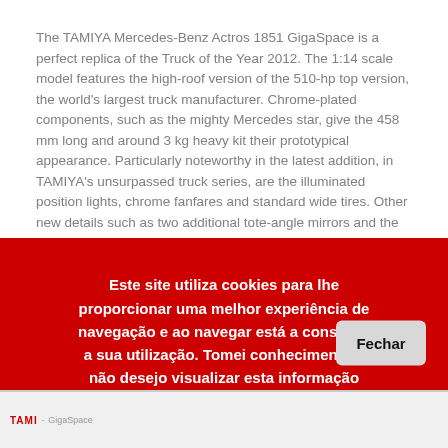The TAMIYA Mercedes-Benz Actros 1851 GigaSpace is a perfect replica of the Truck of the Year 2012. The 1:14 scale model features the high-roof version of the 510-hp top version, the world's largest truck manufacturer. Chrome-plated components, such as the mighty Mercedes star, give the 458 mm long and around 3 kg heavy kit their prototypical appearance. Particularly noteworthy in the latest addition, in TAMIYA's unsurpassed truck series, are the illuminated position lights, chrome fanfares and standard wide tires. Other new details such as two additional tote-angle mirrors and the finely reproduced fuel tanks characterize the prototypical appearance. Thanks to its powerful electric motor, which transmits its torque to the rear axle via a shiftable 3-speed manual transmission, impressive teams can be put together. The prototypical fifth wheel of the remote-controlled model allows coupling with numerous TAMIYA and CARSON-MODEL SPORT semi-trailers. With the optionally available multifunctional unit, the TAMIYA Mercedes-Benz Actros simulates almost all the sounds and lights of the model. The...
Este site utiliza cookies para lhe proporcionar uma melhor experiência de navegação e ao navegar está a consentir a sua utilização. Tomei conhecimento e não desejo visualizar esta informação novamente.